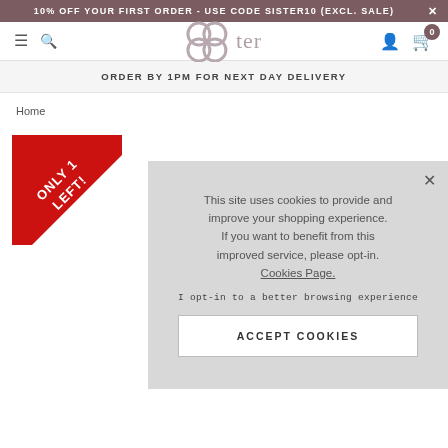10% OFF YOUR FIRST ORDER - USE CODE SISTER10 (EXCL. SALE)
[Figure (logo): Sister brand logo with stylized SS letters in muted rose/grey]
ORDER BY 1PM FOR NEXT DAY DELIVERY
Home
[Figure (illustration): Red corner ribbon badge with text ONLY 1 LEFT!]
This site uses cookies to provide and improve your shopping experience. If you want to benefit from this improved service, please opt-in. Cookies Page.

I opt-in to a better browsing experience

ACCEPT COOKIES